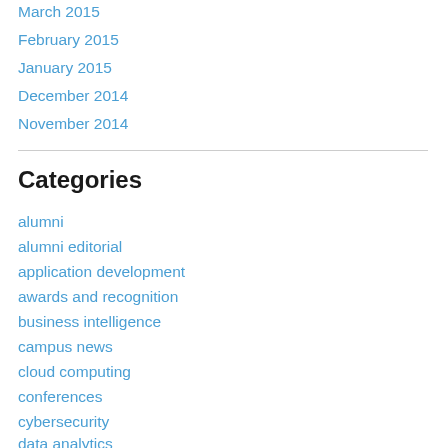March 2015
February 2015
January 2015
December 2014
November 2014
Categories
alumni
alumni editorial
application development
awards and recognition
business intelligence
campus news
cloud computing
conferences
cybersecurity
data analytics
data privacy